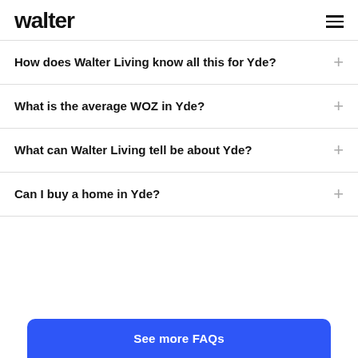walter
How does Walter Living know all this for Yde?
What is the average WOZ in Yde?
What can Walter Living tell be about Yde?
Can I buy a home in Yde?
See more FAQs